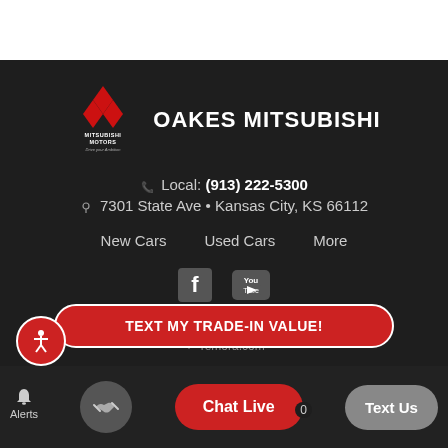[Figure (logo): Mitsubishi Motors logo with three red diamonds, text MITSUBISHI MOTORS Drive your Ambition]
OAKES MITSUBISHI
Local: (913) 222-5300
7301 State Ave • Kansas City, KS 66112
New Cars
Used Cars
More
[Figure (logo): Facebook icon square]
[Figure (logo): YouTube icon]
© 2022 Oakes Mitsubishi | Privacy Policy
remora.com
TEXT MY TRADE-IN VALUE!
Alerts
Chat Live
Text Us